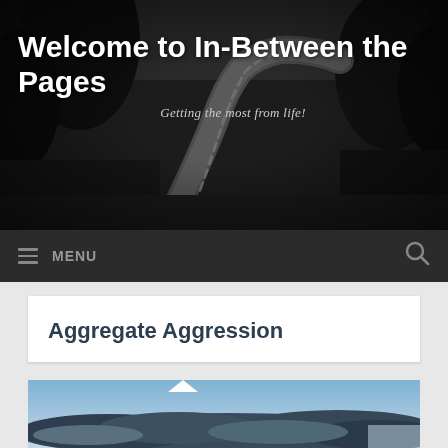[Figure (photo): Dark black-and-white photo of a winding road through trees, used as the website header background]
Welcome to In-Between the Pages
Getting the most from life!
MENU
Aggregate Aggression
[Figure (photo): Blue sky with dark storm clouds, article featured image]